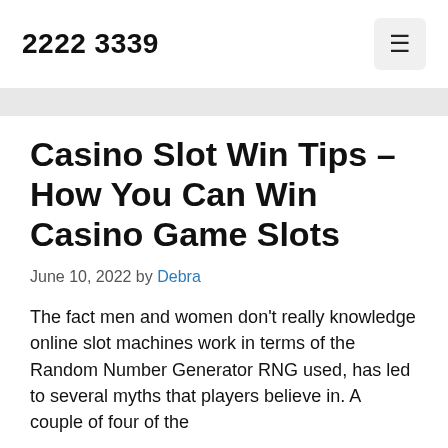2222 3339
Casino Slot Win Tips – How You Can Win Casino Game Slots
June 10, 2022 by Debra
The fact men and women don't really knowledge online slot machines work in terms of the Random Number Generator RNG used, has led to several myths that players believe in. A couple of four of the